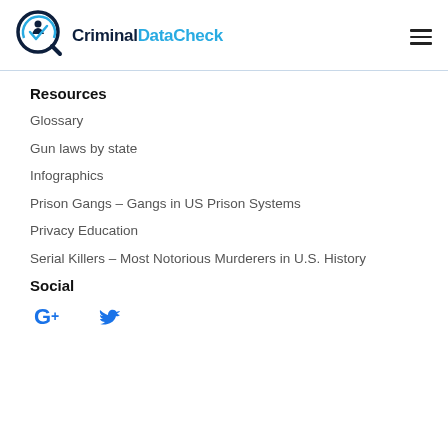CriminalDataCheck
Resources
Glossary
Gun laws by state
Infographics
Prison Gangs – Gangs in US Prison Systems
Privacy Education
Serial Killers – Most Notorious Murderers in U.S. History
Social
[Figure (logo): Google Plus and Twitter social media icons]